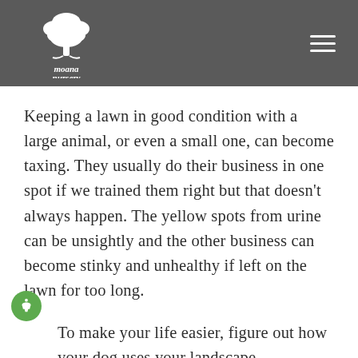[Figure (logo): Moana Nursery logo — white tree illustration with text 'moana nursery Since 1967' on a dark grey background header]
Keeping a lawn in good condition with a large animal, or even a small one, can become taxing. They usually do their business in one spot if we trained them right but that doesn't always happen. The yellow spots from urine can be unsightly and the other business can become stinky and unhealthy if left on the lawn for too long.
To make your life easier, figure out how your dog uses your landscape.